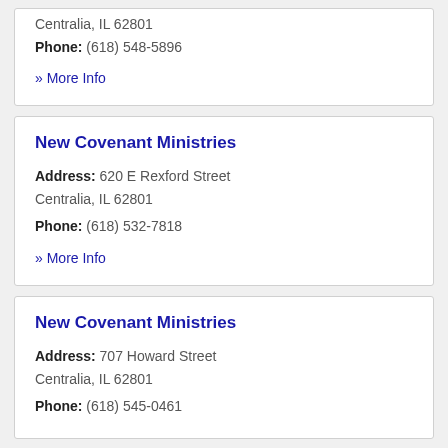Centralia, IL 62801
Phone: (618) 548-5896
» More Info
New Covenant Ministries
Address: 620 E Rexford Street Centralia, IL 62801
Phone: (618) 532-7818
» More Info
New Covenant Ministries
Address: 707 Howard Street Centralia, IL 62801
Phone: (618) 545-0461